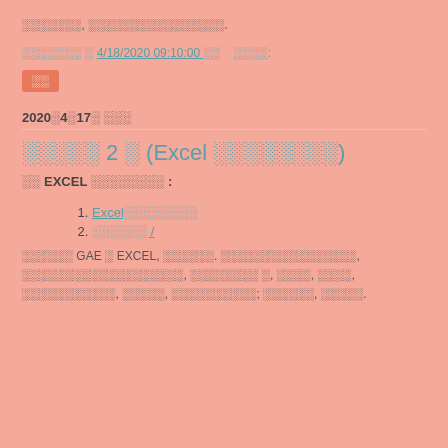░░░░░░░, ░░░░░░░░░░░░░░░░.
░░░░░░░ ░ 4/18/2020 09:10:00 ░░    ░░░░:
░░
2020░4░17░ ░░░
░░░░░ 2 ░ (Excel ░░░░░░░░)
░░ EXCEL ░░░░░░░░ :
Excel░░░░░░░░
░░░░░░ /
░░░░░░ GAE ░ EXCEL, ░░░░░░. ░░░░░░░░░░░░░░░░, ░░░░░░░░░░░░░░░░░░░, ░░░░░░░░ ░, ░░░░, ░░░░, ░░░░░░░░░░░, ░░░░░, ░░░░░░░░░░; ░░░░░░, ░░░░░.